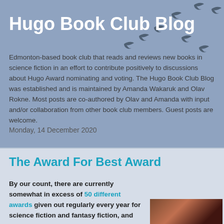Hugo Book Club Blog
Edmonton-based book club that reads and reviews new books in science fiction in an effort to contribute positively to discussions about Hugo Award nominating and voting. The Hugo Book Club Blog was established and is maintained by Amanda Wakaruk and Olav Rokne. Most posts are co-authored by Olav and Amanda with input and/or collaboration from other book club members. Guest posts are welcome.
Monday, 14 December 2020
The Award For Best Award
By our count, there are currently somewhat in excess of 50 different awards given out regularly every year for science fiction and fantasy fiction, and
[Figure (photo): Partial photo visible at bottom right of page, showing a dark reddish scene, likely a book or decorative item]